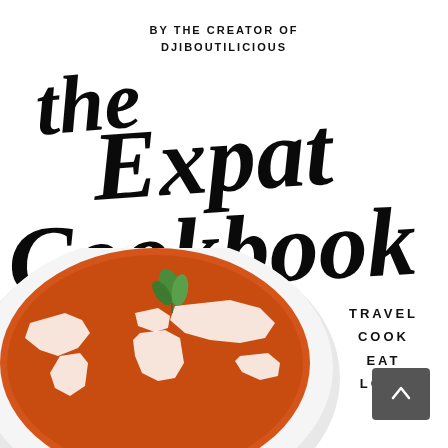BY THE CREATOR OF
DJIBOUTILICIOUS
The Expat Cookbook
TRAVEL
COOK
EAT
LOVE
[Figure (photo): A white plate with orange tomato soup, a white world map design on the soup surface, and a green mint leaf garnish on top, photographed from above.]